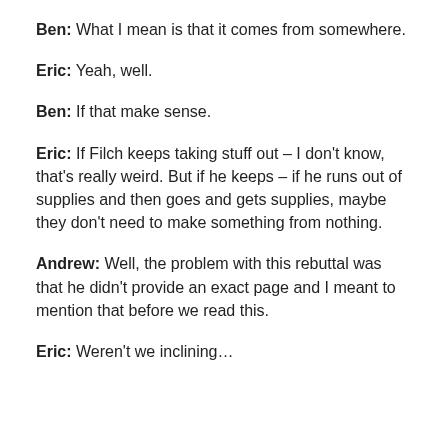Ben: What I mean is that it comes from somewhere.
Eric: Yeah, well.
Ben: If that make sense.
Eric: If Filch keeps taking stuff out – I don't know, that's really weird. But if he keeps – if he runs out of supplies and then goes and gets supplies, maybe they don't need to make something from nothing.
Andrew: Well, the problem with this rebuttal was that he didn't provide an exact page and I meant to mention that before we read this.
Eric: Weren't we inclining…